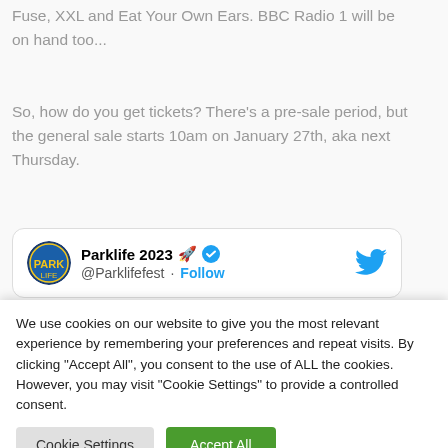Fuse, XXL and Eat Your Own Ears. BBC Radio 1 will be on hand too...
So, how do you get tickets? There's a pre-sale period, but the general sale starts 10am on January 27th, aka next Thursday.
[Figure (screenshot): Embedded Twitter/X card showing Parklife 2023 account (@Parklifefest) with rocket and verified badge emojis, a Follow link, and Twitter bird icon.]
We use cookies on our website to give you the most relevant experience by remembering your preferences and repeat visits. By clicking "Accept All", you consent to the use of ALL the cookies. However, you may visit "Cookie Settings" to provide a controlled consent.